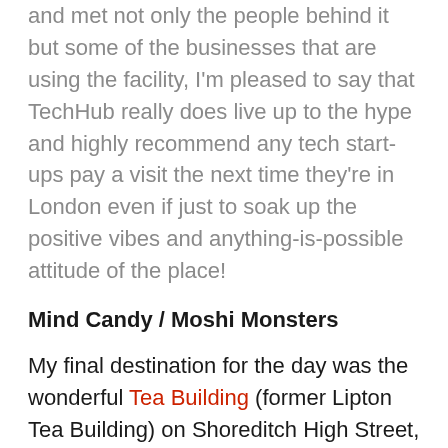and met not only the people behind it but some of the businesses that are using the facility, I'm pleased to say that TechHub really does live up to the hype and highly recommend any tech start-ups pay a visit the next time they're in London even if just to soak up the positive vibes and anything-is-possible attitude of the place!
Mind Candy / Moshi Monsters
My final destination for the day was the wonderful Tea Building (former Lipton Tea Building) on Shoreditch High Street, just a short walk from TechHub via Great Eastern Street. As I walked towards the Tea Building,